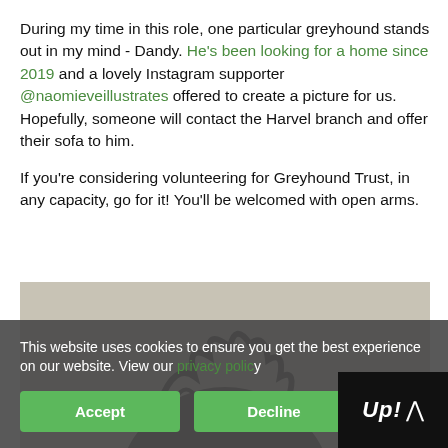During my time in this role, one particular greyhound stands out in my mind - Dandy. He's been looking for a home since 2019 and a lovely Instagram supporter @naomieveillustrates offered to create a picture for us. Hopefully, someone will contact the Harvel branch and offer their sofa to him.

If you're considering volunteering for Greyhound Trust, in any capacity, go for it! You'll be welcomed with open arms.
[Figure (photo): Partial photo of a dark-haired person, only the top of their head visible, with a beige/grey background.]
This website uses cookies to ensure you get the best experience on our website. View our privacy policy